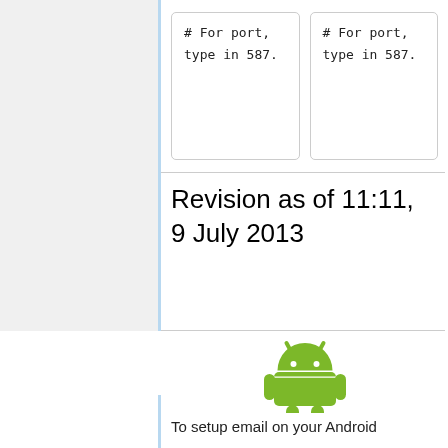# For port, type in 587.
# For port, type in 587.
Revision as of 11:11, 9 July 2013
[Figure (logo): Android robot mascot logo in green]
To setup email on your Android